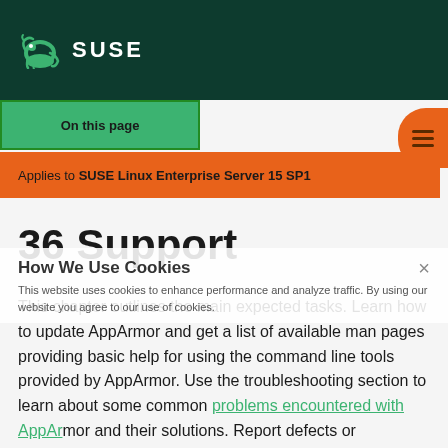[Figure (logo): SUSE logo with chameleon icon on dark green header bar]
On this page
Applies to SUSE Linux Enterprise Server 15 SP1
36 Support
How We Use Cookies
This website uses cookies to enhance performance and analyze traffic. By using our website you agree to our use of cookies.
This chapter outlines the main expected tasks. Learn how to update AppArmor and get a list of available man pages providing basic help for using the command line tools provided by AppArmor. Use the troubleshooting section to learn about some common problems encountered with AppArmor and their solutions. Report defects or enhancement requests for AppArmor following the instructions in